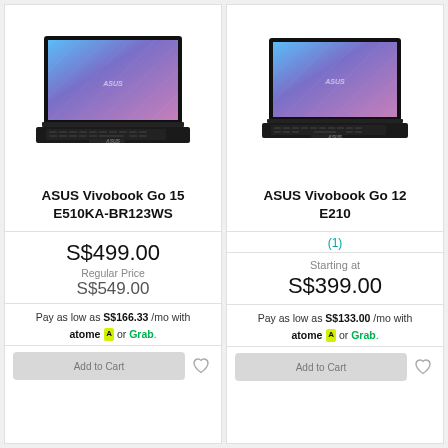[Figure (photo): ASUS Vivobook Go 15 E510KA-BR123WS laptop with blue-purple gradient screen, black body, front view open]
ASUS Vivobook Go 15 E510KA-BR123WS
S$499.00
Regular Price
S$549.00
Pay as low as S$166.33 /mo with atome or Grab.
[Figure (photo): ASUS Vivobook Go 12 E210 laptop with blue-purple gradient screen, black body, front view open]
ASUS Vivobook Go 12 E210
(1)
Starting at
S$399.00
Pay as low as S$133.00 /mo with atome or Grab.